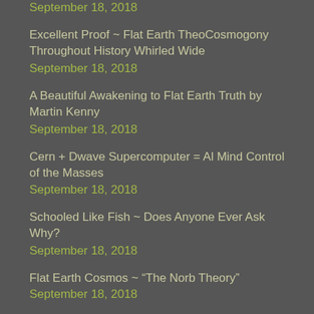September 18, 2018
Excellent Proof ~ Flat Earth TheoCosmogony Throughout History Whirled Wide
September 18, 2018
A Beautiful Awakening to Flat Earth Truth by Martin Kenny
September 18, 2018
Cern + Dwave Supercomputer = Al Mind Control of the Masses
September 18, 2018
Schooled Like Fish ~ Does Anyone Ever Ask Why?
September 18, 2018
Flat Earth Cosmos ~ “The Norb Theory” September 18, 2018
Parents Remove Their Children From WiFried School ~ A Lesson for All September 18,